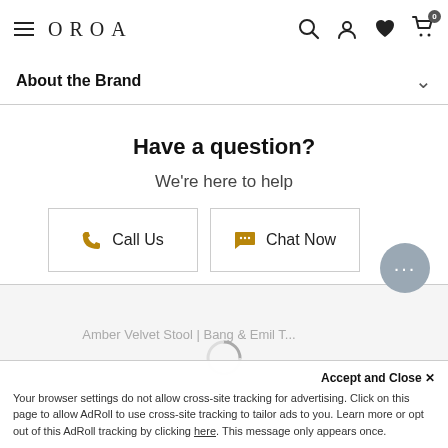OROA
About the Brand
Have a question?
We're here to help
Call Us
Chat Now
Amber Velvet Stool | Bang & Emil T...
Accept and Close ✕
Your browser settings do not allow cross-site tracking for advertising. Click on this page to allow AdRoll to use cross-site tracking to tailor ads to you. Learn more or opt out of this AdRoll tracking by clicking here. This message only appears once.